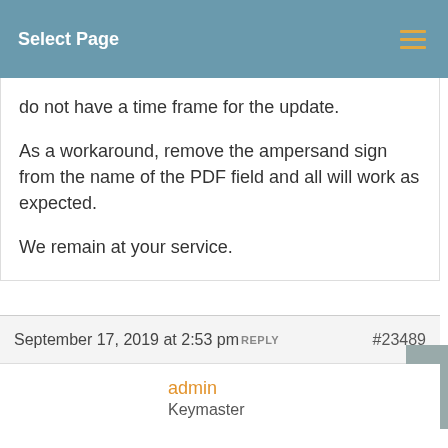Select Page
do not have a time frame for the update.

As a workaround, remove the ampersand sign from the name of the PDF field and all will work as expected.

We remain at your service.
September 17, 2019 at 2:53 pm REPLY #23489
admin
Keymaster